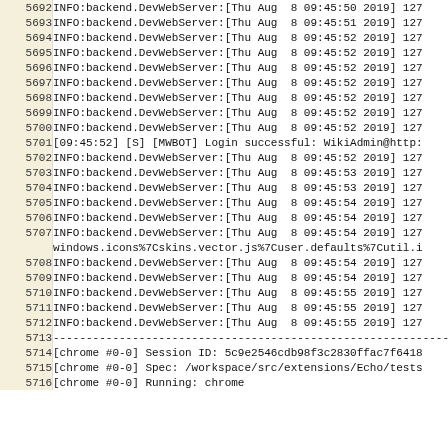| line | content |
| --- | --- |
| 5692 | INFO:backend.DevWebServer:[Thu Aug  8 09:45:50 2019] 127 |
| 5693 | INFO:backend.DevWebServer:[Thu Aug  8 09:45:51 2019] 127 |
| 5694 | INFO:backend.DevWebServer:[Thu Aug  8 09:45:52 2019] 127 |
| 5695 | INFO:backend.DevWebServer:[Thu Aug  8 09:45:52 2019] 127 |
| 5696 | INFO:backend.DevWebServer:[Thu Aug  8 09:45:52 2019] 127 |
| 5697 | INFO:backend.DevWebServer:[Thu Aug  8 09:45:52 2019] 127 |
| 5698 | INFO:backend.DevWebServer:[Thu Aug  8 09:45:52 2019] 127 |
| 5699 | INFO:backend.DevWebServer:[Thu Aug  8 09:45:52 2019] 127 |
| 5700 | INFO:backend.DevWebServer:[Thu Aug  8 09:45:52 2019] 127 |
| 5701 | [09:45:52] [S] [MWBOT] Login successful: WikiAdmin@http: |
| 5702 | INFO:backend.DevWebServer:[Thu Aug  8 09:45:52 2019] 127 |
| 5703 | INFO:backend.DevWebServer:[Thu Aug  8 09:45:53 2019] 127 |
| 5704 | INFO:backend.DevWebServer:[Thu Aug  8 09:45:53 2019] 127 |
| 5705 | INFO:backend.DevWebServer:[Thu Aug  8 09:45:54 2019] 127 |
| 5706 | INFO:backend.DevWebServer:[Thu Aug  8 09:45:54 2019] 127 |
| 5707 | INFO:backend.DevWebServer:[Thu Aug  8 09:45:54 2019] 127 |
|  | windows.icons%7Cskins.vector.js%7Cuser.defaults%7Cutil.i |
| 5708 | INFO:backend.DevWebServer:[Thu Aug  8 09:45:54 2019] 127 |
| 5709 | INFO:backend.DevWebServer:[Thu Aug  8 09:45:54 2019] 127 |
| 5710 | INFO:backend.DevWebServer:[Thu Aug  8 09:45:55 2019] 127 |
| 5711 | INFO:backend.DevWebServer:[Thu Aug  8 09:45:55 2019] 127 |
| 5712 | INFO:backend.DevWebServer:[Thu Aug  8 09:45:55 2019] 127 |
| 5713 | ------------------------------------------------------------------------ |
| 5714 | [chrome #0-0] Session ID: 5c9e2546cdb98f3c2830ffac7f6418 |
| 5715 | [chrome #0-0] Spec: /workspace/src/extensions/Echo/tests |
| 5716 | [chrome #0-0] Running: chrome |